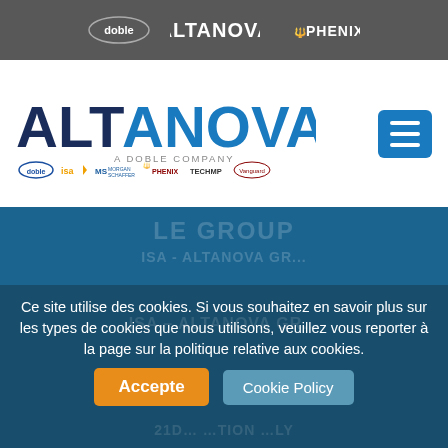[Figure (logo): Top navigation bar with doble, ALTANOVA, and PHENIX logos on dark grey background]
[Figure (logo): ALTANOVA - A DOBLE COMPANY logo with subsidiary brand logos: doble, isa, MS Morgan Schaefer, PHENIX, TECHMP, Vanguard]
[Figure (screenshot): Blue banner section with faded background text]
Ce site utilise des cookies. Si vous souhaitez en savoir plus sur les types de cookies que nous utilisons, veuillez vous reporter à la page sur la politique relative aux cookies.
[Figure (other): Cookie accept button (orange) and Cookie Policy button (blue)]